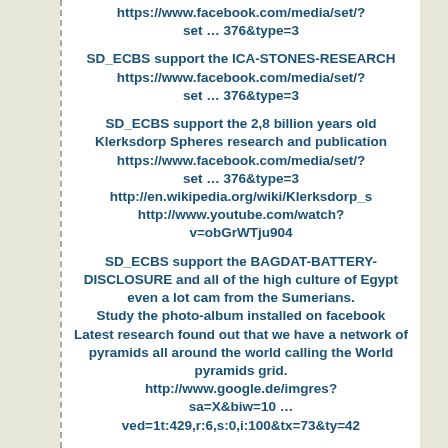https://www.facebook.com/media/set/?set … 376&type=3
SD_ECBS support the ICA-STONES-RESEARCH https://www.facebook.com/media/set/?set … 376&type=3
SD_ECBS support the 2,8 billion years old Klerksdorp Spheres research and publication https://www.facebook.com/media/set/?set … 376&type=3 http://en.wikipedia.org/wiki/Klerksdorp_s http://www.youtube.com/watch?v=obGrWTju904
SD_ECBS support the BAGDAT-BATTERY-DISCLOSURE and all of the high culture of Egypt even a lot cam from the Sumerians. Study the photo-album installed on facebook Latest research found out that we have a network of pyramids all around the world calling the World pyramids grid. http://www.google.de/imgres?sa=X&biw=10 … ved=1t:429,r:6,s:0,i:100&tx=73&ty=42
EARTH NEED A CHANGE! So you start